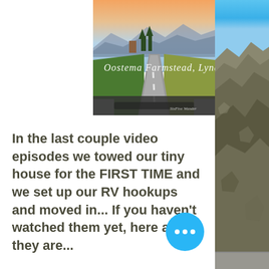[Figure (photo): Aerial/road-level view of Oostema Farmstead in Lynden WA at sunset/dusk. A straight road leads into the distance through green farmland with mountains on the horizon. Script text overlay reads 'Oostema Farmstead, Lynden WA'.]
In the last couple video episodes we towed our tiny house for the FIRST TIME and we set up our RV hookups and moved in... If you haven't watched them yet, here are they are...
[Figure (photo): Rocky cliff/canyon landscape with clear blue sky on the right side strip of the page.]